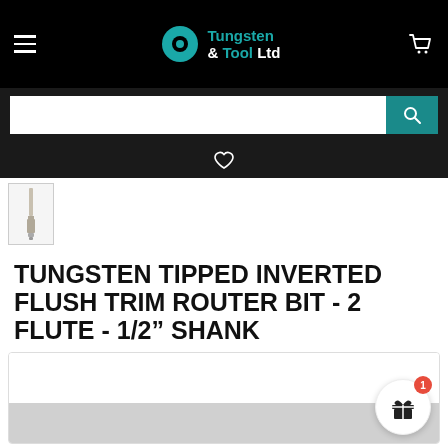Tungsten & Tool Ltd — navigation bar with hamburger menu, logo, and cart icon
[Figure (screenshot): Search bar with white input field and teal search button with magnifying glass icon]
[Figure (screenshot): Heart/wishlist icon on dark background]
[Figure (photo): Small thumbnail image of a tungsten tipped inverted flush trim router bit]
TUNGSTEN TIPPED INVERTED FLUSH TRIM ROUTER BIT - 2 FLUTE - 1/2" SHANK
[Figure (screenshot): Product card section with white top area, grey bottom area, and a circular gift badge with red notification dot showing '1']